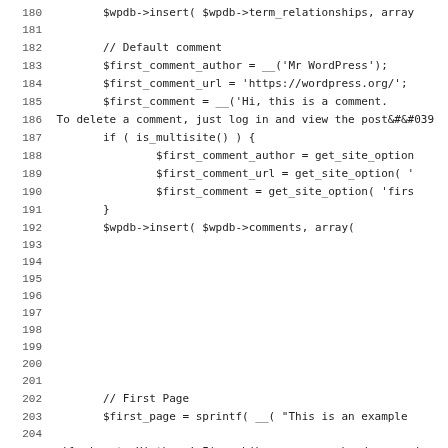Source code listing, lines 180-211, PHP/WordPress install script